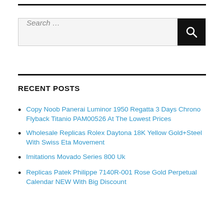[Figure (other): Search bar with text input field showing 'Search ...' placeholder and a dark search button with magnifying glass icon]
RECENT POSTS
Copy Noob Panerai Luminor 1950 Regatta 3 Days Chrono Flyback Titanio PAM00526 At The Lowest Prices
Wholesale Replicas Rolex Daytona 18K Yellow Gold+Steel With Swiss Eta Movement
Imitations Movado Series 800 Uk
Replicas Patek Philippe 7140R-001 Rose Gold Perpetual Calendar NEW With Big Discount